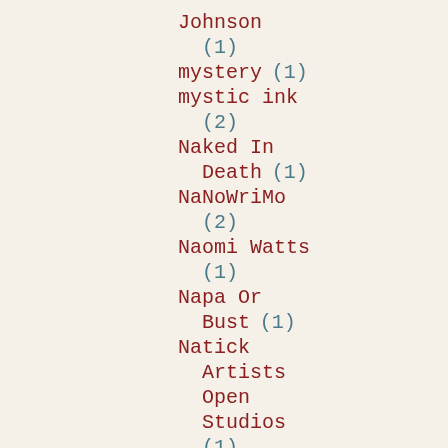Johnson (1)
mystery (1)
mystic ink (2)
Naked In Death (1)
NaNoWriMo (2)
Naomi Watts (1)
Napa Or Bust (1)
Natick Artists Open Studios (1)